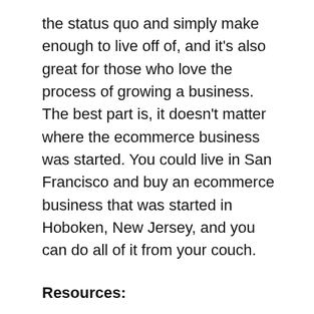the status quo and simply make enough to live off of, and it's also great for those who love the process of growing a business. The best part is, it doesn't matter where the ecommerce business was started. You could live in San Francisco and buy an ecommerce business that was started in Hoboken, New Jersey, and you can do all of it from your couch.
Resources:
How to Start an Ecommerce Business: Build an Ecommerce Store